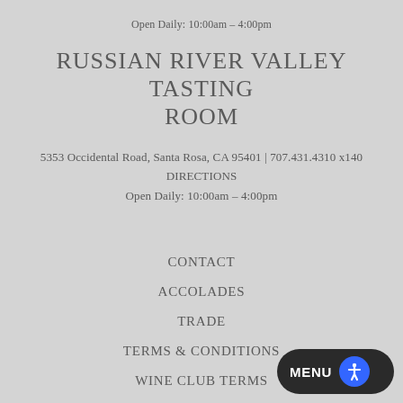Open Daily: 10:00am – 4:00pm
RUSSIAN RIVER VALLEY TASTING ROOM
5353 Occidental Road, Santa Rosa, CA 95401 | 707.431.4310 x140
DIRECTIONS
Open Daily: 10:00am – 4:00pm
CONTACT
ACCOLADES
TRADE
TERMS & CONDITIONS
WINE CLUB TERMS